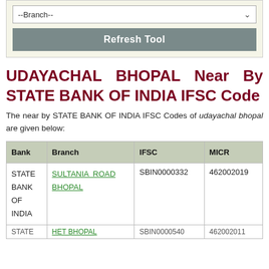[Figure (screenshot): A web form widget with a '--Branch--' dropdown selector and a 'Refresh Tool' button on a light yellow-green background]
UDAYACHAL BHOPAL Near By STATE BANK OF INDIA IFSC Code
The near by STATE BANK OF INDIA IFSC Codes of udayachal bhopal are given below:
| Bank | Branch | IFSC | MICR |
| --- | --- | --- | --- |
| STATE BANK OF INDIA | SULTANIA ROAD BHOPAL | SBIN0000332 | 462002019 |
| STATE ... | HET BHOPAL ... | SBIN0000540... | 462002011... |